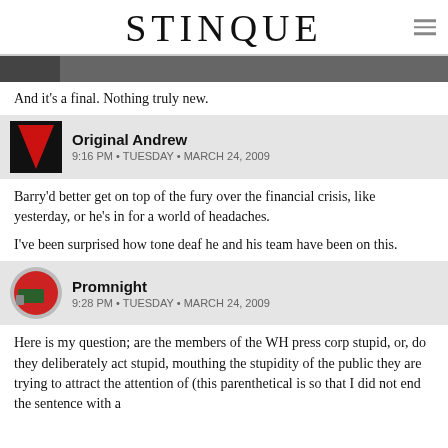STINQUE
[Figure (photo): Partial image strip showing a dark photo thumbnail]
And it's a final. Nothing truly new.
Original Andrew
9:16 PM • TUESDAY • MARCH 24, 2009
Barry'd better get on top of the fury over the financial crisis, like yesterday, or he's in for a world of headaches.

I've been surprised how tone deaf he and his team have been on this.
Promnight
9:28 PM • TUESDAY • MARCH 24, 2009
Here is my question; are the members of the WH press corp stupid, or, do they deliberately act stupid, mouthing the stupidity of the public they are trying to attract the attention of (this parenthetical is so that I did not end the sentence with a